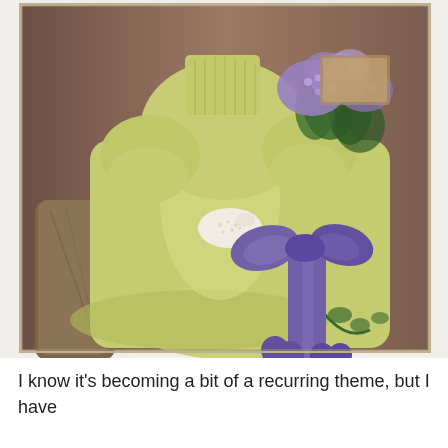[Figure (photo): Vintage colorized photograph of a woman seated, wearing a yellow-green dress with puffed sleeves and white lace gloves, holding a bouquet of purple/lavender flowers tied with a large purple ribbon bow. She is seated on what appears to be a rustic wooden bench or log. The background is a brownish studio backdrop.]
I know it's becoming a bit of a recurring theme, but I have